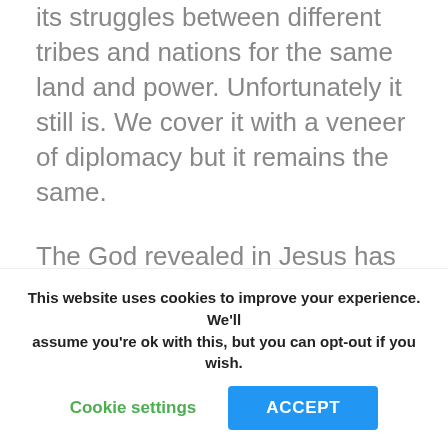its struggles between different tribes and nations for the same land and power. Unfortunately it still is. We cover it with a veneer of diplomacy but it remains the same.
The God revealed in Jesus has no time for this. If we follow the God of love, we must do all we can to make our world different and never glorify violence.
This website uses cookies to improve your experience. We'll assume you're ok with this, but you can opt-out if you wish.
Cookie settings
ACCEPT